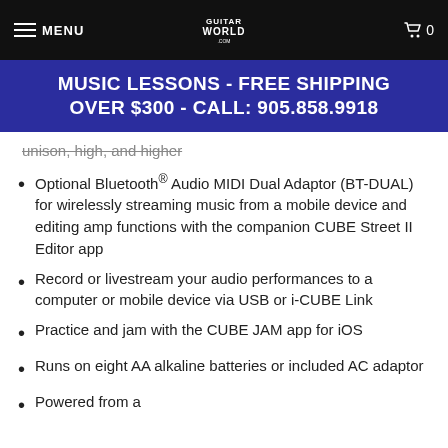MENU | Guitar World | 0
MUSIC LESSONS - FREE SHIPPING OVER $300 - CALL: 905.858.9918
unison, high, and higher
Optional Bluetooth® Audio MIDI Dual Adaptor (BT-DUAL) for wirelessly streaming music from a mobile device and editing amp functions with the companion CUBE Street II Editor app
Record or livestream your audio performances to a computer or mobile device via USB or i-CUBE Link
Practice and jam with the CUBE JAM app for iOS
Runs on eight AA alkaline batteries or included AC adaptor
Powered from...